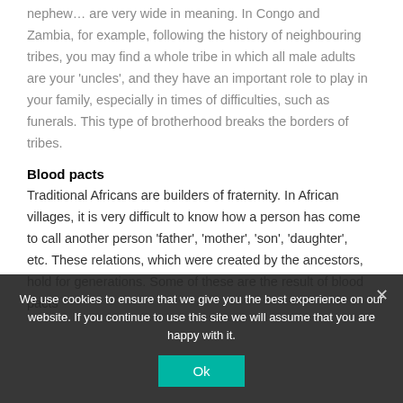nephew… are very wide in meaning. In Congo and Zambia, for example, following the history of neighbouring tribes, you may find a whole tribe in which all male adults are your 'uncles', and they have an important role to play in your family, especially in times of difficulties, such as funerals. This type of brotherhood breaks the borders of tribes.
Blood pacts
Traditional Africans are builders of fraternity. In African villages, it is very difficult to know how a person has come to call another person 'father', 'mother', 'son', 'daughter', etc. These relations, which were created by the ancestors, hold for generations. Some of these are the result of blood pacts
We use cookies to ensure that we give you the best experience on our website. If you continue to use this site we will assume that you are happy with it.